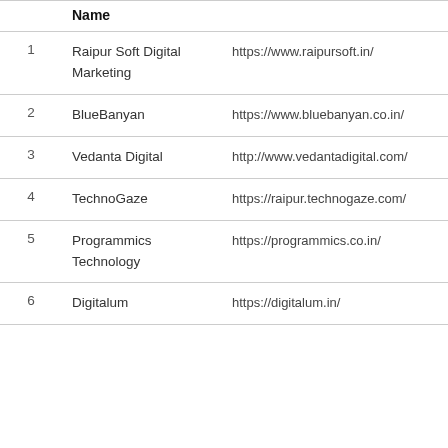|  | Name |  |
| --- | --- | --- |
| 1 | Raipur Soft Digital Marketing | https://www.raipursoft.in/ |
| 2 | BlueBanyan | https://www.bluebanyan.co.in/ |
| 3 | Vedanta Digital | http://www.vedantadigital.com/ |
| 4 | TechnoGaze | https://raipur.technogaze.com/ |
| 5 | Programmics Technology | https://programmics.co.in/ |
| 6 | Digitalum | https://digitalum.in/ |